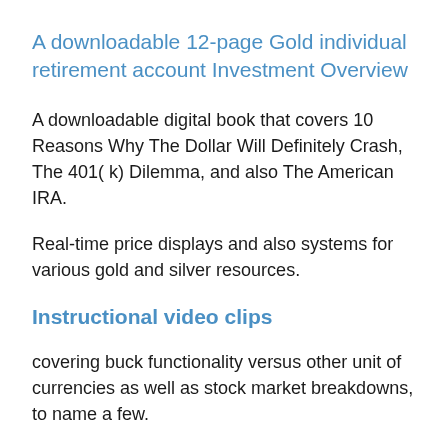A downloadable 12-page Gold individual retirement account Investment Overview
A downloadable digital book that covers 10 Reasons Why The Dollar Will Definitely Crash, The 401( k) Dilemma, and also The American IRA.
Real-time price displays and also systems for various gold and silver resources.
Instructional video clips
covering buck functionality versus other unit of currencies as well as stock market breakdowns, to name a few.